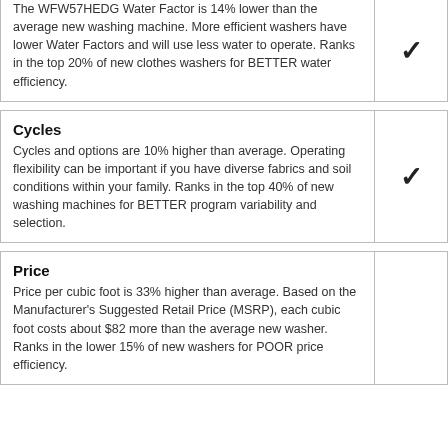The WFW57HEDG Water Factor is 14% lower than the average new washing machine. More efficient washers have lower Water Factors and will use less water to operate. Ranks in the top 20% of new clothes washers for BETTER water efficiency.
Cycles
Cycles and options are 10% higher than average. Operating flexibility can be important if you have diverse fabrics and soil conditions within your family. Ranks in the top 40% of new washing machines for BETTER program variability and selection.
Price
Price per cubic foot is 33% higher than average. Based on the Manufacturer's Suggested Retail Price (MSRP), each cubic foot costs about $82 more than the average new washer. Ranks in the lower 15% of new washers for POOR price efficiency.